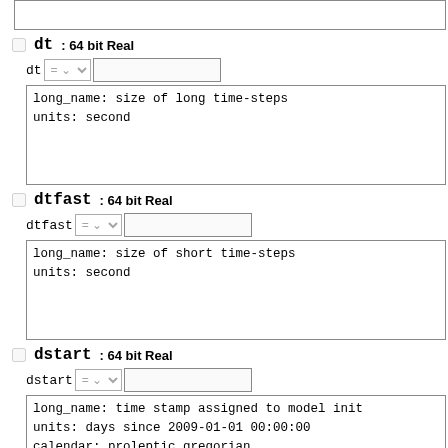[Figure (screenshot): Top partial box (cut off from previous section)]
dt: 64 bit Real
dt = [dropdown] [text input]
long_name: size of long time-steps
units: second
dtfast: 64 bit Real
dtfast = [dropdown] [text input]
long_name: size of short time-steps
units: second
dstart: 64 bit Real
dstart = [dropdown] [text input]
long_name: time stamp assigned to model init
units: days since 2009-01-01 00:00:00
calendar: proleptic_gregorian
nHIS: 32 bit Integer